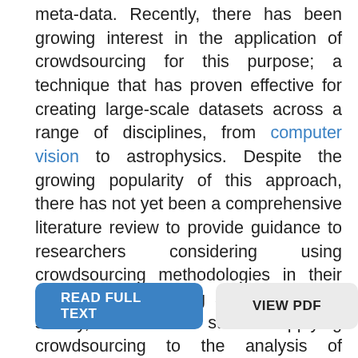meta-data. Recently, there has been growing interest in the application of crowdsourcing for this purpose; a technique that has proven effective for creating large-scale datasets across a range of disciplines, from computer vision to astrophysics. Despite the growing popularity of this approach, there has not yet been a comprehensive literature review to provide guidance to researchers considering using crowdsourcing methodologies in their own medical imaging analysis. In this survey, we review studies applying crowdsourcing to the analysis of medical images, published prior to July 2018. We identify common approaches, challenges and considerations, providing guidance of utility to researchers adopting this approach. Finally, we discuss future opportunities for development within this emerging domain.
READ FULL TEXT
VIEW PDF